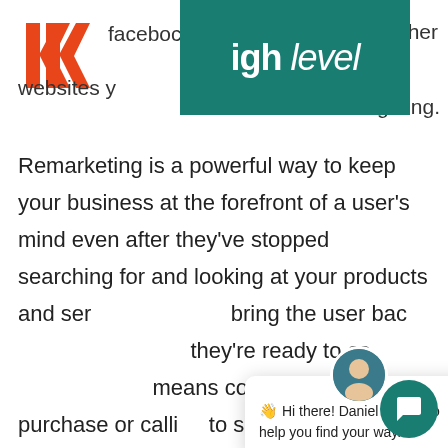[Figure (logo): Red/orange stylized HH letters logo (GoHighLevel logo) at top left, partially visible]
[Figure (screenshot): Teal banner overlapping the header area with italic bold text 'igh level' in white]
facebook and other websites you visit for retargeting.
Remarketing is a powerful way to keep your business at the forefront of a user’s mind even after they’ve stopped searching for and looking at your products and services. It helps bring the user back to your site when they’re ready to convert (whether that means completing a purchase or calling to schedule an appointment).
[Figure (screenshot): Chat popup widget showing avatar of Daniel and message: Hi there! Daniel is here to help you find your way. With close X button and teal chat bubble button at bottom right.]